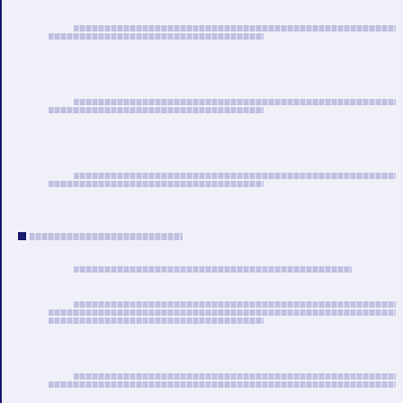[redacted paragraph 1, two lines]
[redacted paragraph 2, two lines]
[redacted paragraph 3, two lines]
[redacted section header with bullet]
[redacted paragraph 4, one line]
[redacted paragraph 5, three lines]
[redacted paragraph 6, two lines]